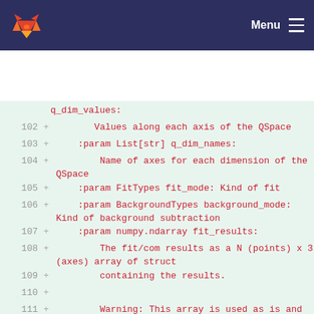GitLab — Menu
q_dim_values:
102 +        Values along each axis of the QSpace
103 +    :param List[str] q_dim_names:
104 +        Name of axes for each dimension of the QSpace
105 +    :param FitTypes fit_mode: Kind of fit
106 +    :param BackgroundTypes background_mode: Kind of background subtraction
107 +    :param numpy.ndarray fit_results:
108 +        The fit/com results as a N (points) x 3 (axes) array of struct
109 +        containing the results.
110 +
111 +        Warning: This array is used as is and not copied.
112 +    """